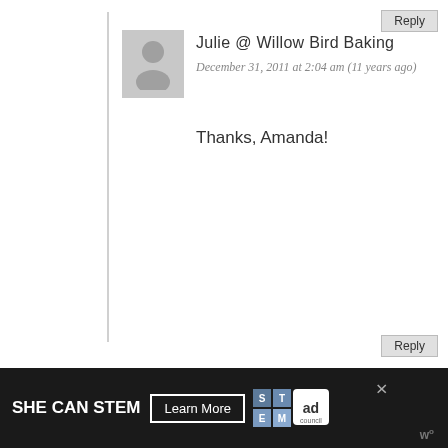Reply
[Figure (illustration): Small grey default avatar/silhouette placeholder image]
Julie @ Willow Bird Baking
December 31, 2011 at 2:04 am (11 years ago)
Thanks, Amanda!
Reply
[Figure (photo): Small avatar photo of Joanne, a woman with dark hair]
Joanne
December 31, 2011 at 1:20 am (11 years ago)
This is such a great story, I often find myself eavesdropping on people on trains or buses... and vacillating between irritation and sort-of love for them. It’s weird. But I get it.
I would have nothing but love for these bars
SHE CAN STEM   Learn More